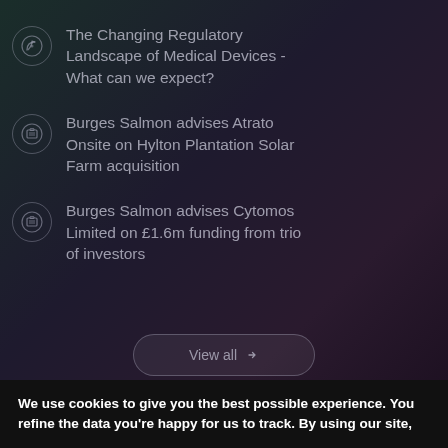The Changing Regulatory Landscape of Medical Devices - What can we expect?
Burges Salmon advises Atrato Onsite on Hylton Plantation Solar Farm acquisition
Burges Salmon advises Cytomos Limited on £1.6m funding from trio of investors
View all
We use cookies to give you the best possible experience. You refine the data you're happy for us to track. By using our site,